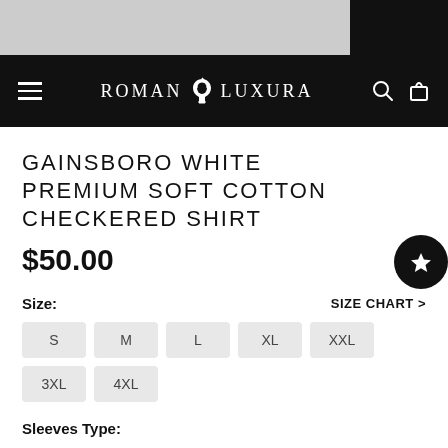ROMAN LUXURA
GAINSBORO WHITE PREMIUM SOFT COTTON CHECKERED SHIRT
$50.00
Size:
SIZE CHART >
S
M
L
XL
XXL
3XL
4XL
Sleeves Type:
Full Sleeve
Half Sleeve